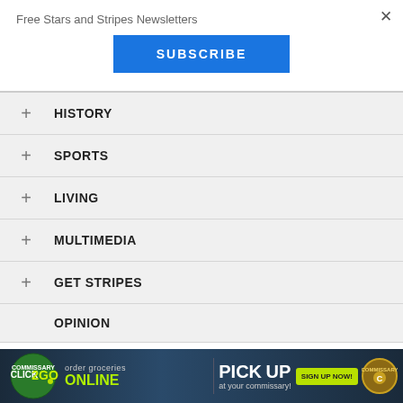Free Stars and Stripes Newsletters
×
SUBSCRIBE
+ HISTORY
+ SPORTS
+ LIVING
+ MULTIMEDIA
+ GET STRIPES
OPINION
[Figure (screenshot): Commissary Click2Go advertisement banner: order groceries ONLINE | PICK UP at your commissary! SIGN UP NOW!]